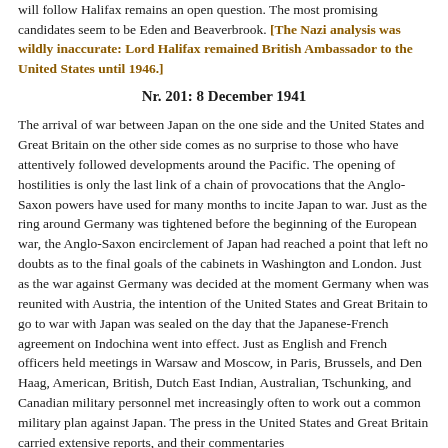will follow Halifax remains an open question. The most promising candidates seem to be Eden and Beaverbrook. [The Nazi analysis was wildly inaccurate: Lord Halifax remained British Ambassador to the United States until 1946.]
Nr. 201: 8 December 1941
The arrival of war between Japan on the one side and the United States and Great Britain on the other side comes as no surprise to those who have attentively followed developments around the Pacific. The opening of hostilities is only the last link of a chain of provocations that the Anglo-Saxon powers have used for many months to incite Japan to war. Just as the ring around Germany was tightened before the beginning of the European war, the Anglo-Saxon encirclement of Japan had reached a point that left no doubts as to the final goals of the cabinets in Washington and London. Just as the war against Germany was decided at the moment Germany when was reunited with Austria, the intention of the United States and Great Britain to go to war with Japan was sealed on the day that the Japanese-French agreement on Indochina went into effect. Just as English and French officers held meetings in Warsaw and Moscow, in Paris, Brussels, and Den Haag, American, British, Dutch East Indian, Australian, Tschunking, and Canadian military personnel met increasingly often to work out a common military plan against Japan. The press in the United States and Great Britain carried extensive reports, and their commentaries